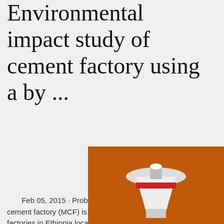Environmental impact study of cement factory using a by ...
Feb 05, 2015 · Problem statement Messe cement factory (MCF) is one of the biggest cement factories in Ethiopia located in Mekelle city. Th is founded in 2000 with a daily production cap 2000 ...
Best energy consumption - International Cem Review
[Figure (illustration): Orange advertisement banner for industrial machinery dealer. Shows crushing/grinding equipment images, 'Enjoy 3% discount' text, 'Click to Chat' button, 'Enquiry' link, and email limingjlmofen@sina.com]